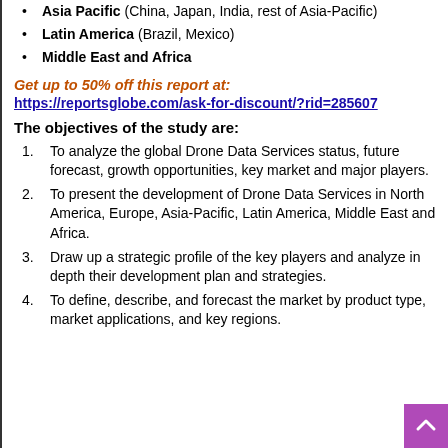Asia Pacific (China, Japan, India, rest of Asia-Pacific)
Latin America (Brazil, Mexico)
Middle East and Africa
Get up to 50% off this report at:
https://reportsglobe.com/ask-for-discount/?rid=285607
The objectives of the study are:
To analyze the global Drone Data Services status, future forecast, growth opportunities, key market and major players.
To present the development of Drone Data Services in North America, Europe, Asia-Pacific, Latin America, Middle East and Africa.
Draw up a strategic profile of the key players and analyze in depth their development plan and strategies.
To define, describe, and forecast the market by product type, market applications, and key regions.